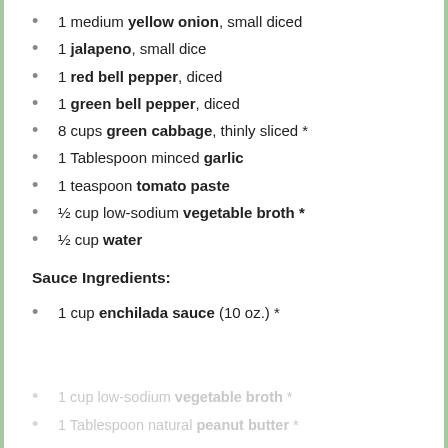1 medium yellow onion, small diced
1 jalapeno, small dice
1 red bell pepper, diced
1 green bell pepper, diced
8 cups green cabbage, thinly sliced *
1 Tablespoon minced garlic
1 teaspoon tomato paste
½ cup low-sodium vegetable broth *
½ cup water
Sauce Ingredients:
1 cup enchilada sauce (10 oz.) *
1 cup low-sodium vegetable broth *
1 Tablespoon natural peanut butter *